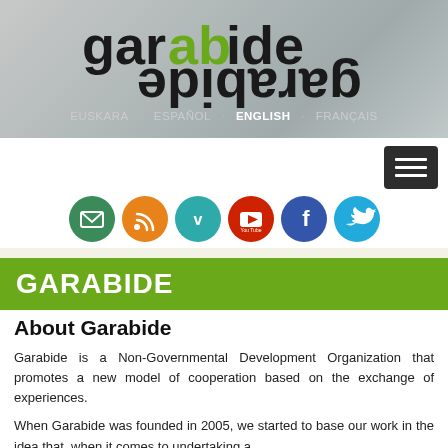[Figure (logo): Garabide logo with mirrored text — 'garabide' in black and green, reflected below in black]
EUSKARA   ESPAÑOL   ENGLISH   FRANÇAIS
[Figure (screenshot): Navigation menu hamburger button (dark rectangle with three white horizontal bars)]
[Figure (infographic): Row of six social media icons: email (green), RSS (orange), Vimeo (teal), YouTube (red), Facebook (blue), Twitter (light blue)]
GARABIDE
About Garabide
Garabide is a Non-Governmental Development Organization that promotes a new model of cooperation based on the exchange of experiences.
When Garabide was founded in 2005, we started to base our work in the idea that, when it comes to undertaking a